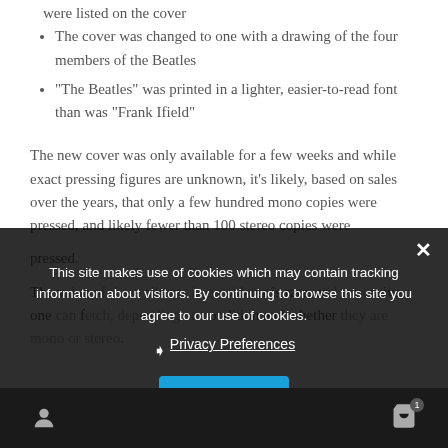were listed on the cover
The cover was changed to one with a drawing of the four members of the Beatles
“The Beatles” was printed in a lighter, easier-to-read font than was “Frank Ifield”
The new cover was only available for a few weeks and while exact pressing figures are unknown, it’s likely, based on sales over the years, that only a few hundred mono copies were pressed, and likely fewer than 100 stereo copies were pressed.
The value of these albums is consider is rare, and expensive, one can fetch, depending on condition and whether they are mono or stereo.
This site makes use of cookies which may contain tracking information about visitors. By continuing to browse this site you agree to our use of cookies.
Privacy Preferences
I Agree